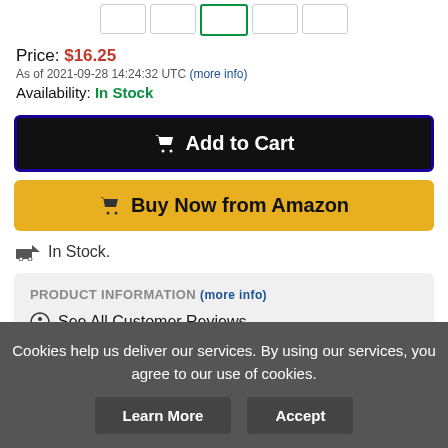Price: $16.25
As of 2021-09-28 14:24:32 UTC (more info)
Availability: In Stock
🛒 Add to Cart
🛒 Buy Now from Amazon
🚚 In Stock.
PRODUCT INFORMATION (more info)
💬 See All Customer Reviews
📋 View Product Details
Cookies help us deliver our services. By using our services, you agree to our use of cookies.
Learn More | Accept